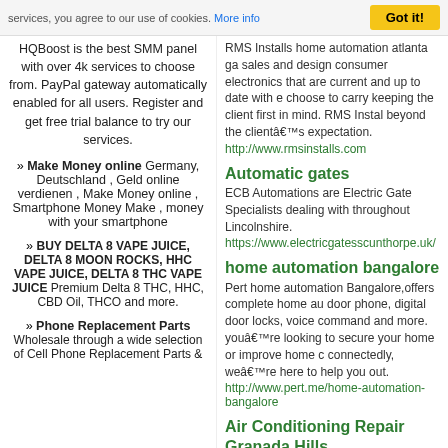services, you agree to our use of cookies. More info | Got it!
HQBoost is the best SMM panel with over 4k services to choose from. PayPal gateway automatically enabled for all users. Register and get free trial balance to try our services.
» Make Money online Germany, Deutschland , Geld online verdienen , Make Money online , Smartphone Money Make , money with your smartphone
» BUY DELTA 8 VAPE JUICE, DELTA 8 MOON ROCKS, HHC VAPE JUICE, DELTA 8 THC VAPE JUICE Premium Delta 8 THC, HHC, CBD Oil, THCO and more.
» Phone Replacement Parts Wholesale through a wide selection of Cell Phone Replacement Parts &
RMS Installs home automation atlanta ga sales and design consumer electronics that are current and up to date with choose to carry keeping the client first in mind. RMS Instal beyond the clientâ€™s expectation. http://www.rmsinstalls.com
Automatic gates
ECB Automations are Electric Gate Specialists dealing with throughout Lincolnshire. https://www.electricgatesscunthorpe.uk/
home automation bangalore
Pert home automation Bangalore,offers complete home au door phone, digital door locks, voice command and more. youâ€™re looking to secure your home or improve home c connectedly, weâ€™re here to help you out. http://www.pert.me/home-automation-bangalore
Air Conditioning Repair Granada Hills
Get total climate control with our efficient and high quality s https://www.bernardinosairconditioning.com/air-conditionin
automatic voltage regulator
Electronic Voltage Regulator: An electronic voltage regulat regulates the input power of the device to work properly ar have a high load such as computers, mobile phones, vehic input power of any device by reducing its input power at or regulator can also reduce the voltage, thus regulating the c voltage that is present. An AC voltage stabilizer is a device the center. The device has two components, an inverter, a regulates the input power of the device. It works with a var device. The device has two components, an inverter, and